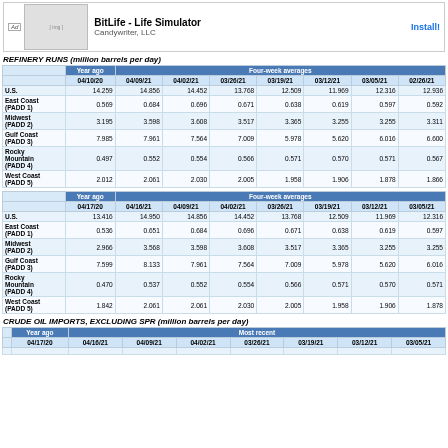[Figure (other): Advertisement banner for BitLife - Life Simulator by Candywriter, LLC with Install button]
REFINERY RUNS (million barrels per day)
|  | Year ago 04/10/20 | Four-week averages 04/09/21 | 04/02/21 | 03/26/21 | 03/19/21 | 03/12/21 | 03/05/21 | 02/26/21 |
| --- | --- | --- | --- | --- | --- | --- | --- | --- |
| U.S. | 14.259 | 14.856 | 14.452 | 13.768 | 12.509 | 11.969 | 12.316 | 12.936 |
| East Coast (PADD 1) | 0.569 | 0.684 | 0.696 | 0.671 | 0.638 | 0.619 | 0.597 | 0.592 |
| Midwest (PADD 2) | 3.195 | 3.598 | 3.608 | 3.517 | 3.365 | 3.255 | 3.255 | 3.311 |
| Gulf Coast (PADD 3) | 7.985 | 7.961 | 7.564 | 7.009 | 5.978 | 5.620 | 6.016 | 6.600 |
| Rocky Mountain (PADD 4) | 0.497 | 0.552 | 0.554 | 0.566 | 0.571 | 0.570 | 0.571 | 0.567 |
| West Coast (PADD 5) | 2.012 | 2.061 | 2.030 | 2.005 | 1.958 | 1.906 | 1.878 | 1.866 |
|  | Year ago 04/17/20 | Four-week averages 04/16/21 | 04/09/21 | 04/02/21 | 03/26/21 | 03/19/21 | 03/12/21 | 03/05/21 |
| --- | --- | --- | --- | --- | --- | --- | --- | --- |
| U.S. | 13.416 | 14.950 | 14.856 | 14.452 | 13.768 | 12.509 | 11.969 | 12.316 |
| East Coast (PADD 1) | 0.536 | 0.651 | 0.684 | 0.696 | 0.671 | 0.638 | 0.619 | 0.597 |
| Midwest (PADD 2) | 2.966 | 3.568 | 3.598 | 3.608 | 3.517 | 3.365 | 3.255 | 3.255 |
| Gulf Coast (PADD 3) | 7.599 | 8.133 | 7.961 | 7.564 | 7.009 | 5.978 | 5.620 | 6.016 |
| Rocky Mountain (PADD 4) | 0.470 | 0.537 | 0.552 | 0.554 | 0.566 | 0.571 | 0.570 | 0.571 |
| West Coast (PADD 5) | 1.842 | 2.061 | 2.061 | 2.030 | 2.005 | 1.958 | 1.906 | 1.878 |
CRUDE OIL IMPORTS, EXCLUDING SPR (million barrels per day)
|  | Year ago | Most recent |
| --- | --- | --- |